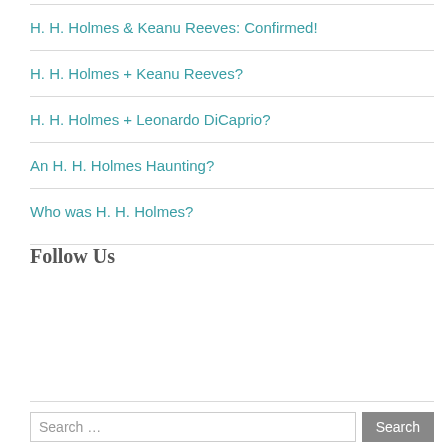H. H. Holmes & Keanu Reeves: Confirmed!
H. H. Holmes + Keanu Reeves?
H. H. Holmes + Leonardo DiCaprio?
An H. H. Holmes Haunting?
Who was H. H. Holmes?
Follow Us
Search …